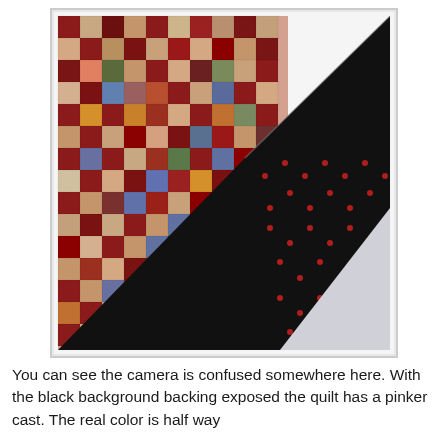[Figure (photo): A patchwork quilt with multicolored square patches in reds, browns, blues, greens, tans, and oranges. The bottom-right corner of the quilt is folded back to reveal a black backing fabric with small red dots. The quilt is photographed against a white background.]
You can see the camera is confused somewhere here.  With the black background backing exposed the quilt has a pinker cast.  The real color is half way